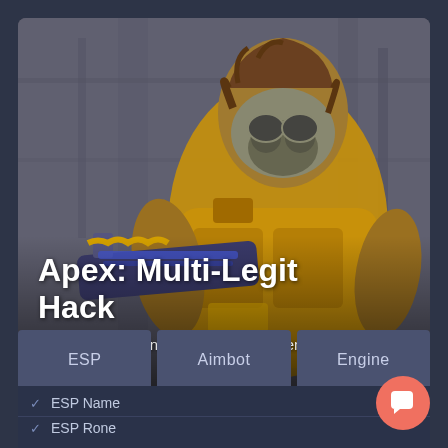[Figure (illustration): Apex Legends character in yellow hazmat-style armor holding a weapon, standing against a grey industrial background. Character has dreadlocks and a gas mask.]
Apex: Multi-Legit Hack
Bump up your win rate with Apex Legends Multi-Legit.
ESP
Aimbot
Engine
ESP Name
ESP Rone